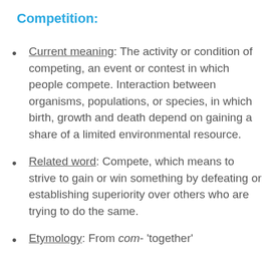Competition:
Current meaning: The activity or condition of competing, an event or contest in which people compete. Interaction between organisms, populations, or species, in which birth, growth and death depend on gaining a share of a limited environmental resource.
Related word: Compete, which means to strive to gain or win something by defeating or establishing superiority over others who are trying to do the same.
Etymology: From com- 'together'